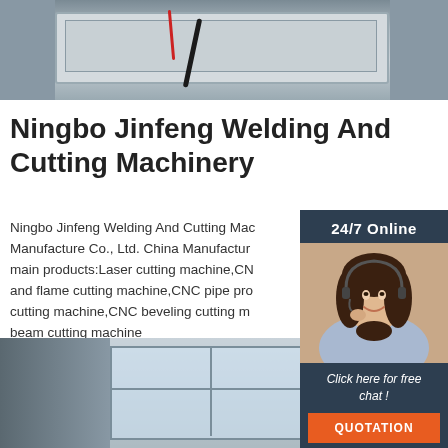[Figure (photo): Top photo of industrial laser/welding cutting machine in factory setting, white/grey machine with cables]
Ningbo Jinfeng Welding And Cutting Machinery
[Figure (photo): Sidebar widget: 24/7 Online with customer service representative wearing headset, smiling. Dark navy background. Click here for free chat! button and orange QUOTATION button.]
Ningbo Jinfeng Welding And Cutting Machinery Manufacture Co., Ltd. China Manufacturer main products:Laser cutting machine,CNC and flame cutting machine,CNC pipe processing cutting machine,CNC beveling cutting machine,beam cutting machine
Get Price
[Figure (photo): Bottom photo of factory interior showing windows, walls and machinery panels]